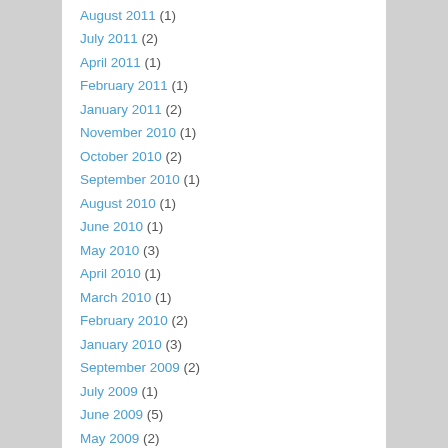August 2011 (1)
July 2011 (2)
April 2011 (1)
February 2011 (1)
January 2011 (2)
November 2010 (1)
October 2010 (2)
September 2010 (1)
August 2010 (1)
June 2010 (1)
May 2010 (3)
April 2010 (1)
March 2010 (1)
February 2010 (2)
January 2010 (3)
September 2009 (2)
July 2009 (1)
June 2009 (5)
May 2009 (2)
April 2009 (1)
March 2009 (2)
February 2009 (1)